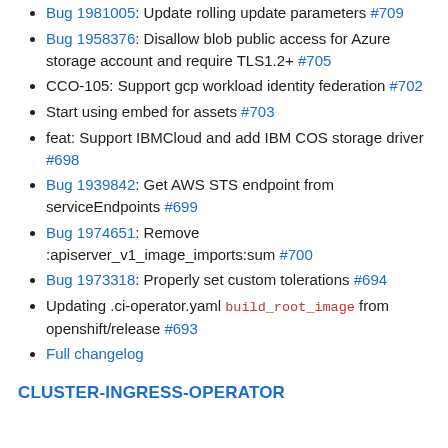Bug 1981005: Update rolling update parameters #709
Bug 1958376: Disallow blob public access for Azure storage account and require TLS1.2+ #705
CCO-105: Support gcp workload identity federation #702
Start using embed for assets #703
feat: Support IBMCloud and add IBM COS storage driver #698
Bug 1939842: Get AWS STS endpoint from serviceEndpoints #699
Bug 1974651: Remove :apiserver_v1_image_imports:sum #700
Bug 1973318: Properly set custom tolerations #694
Updating .ci-operator.yaml build_root_image from openshift/release #693
Full changelog
CLUSTER-INGRESS-OPERATOR